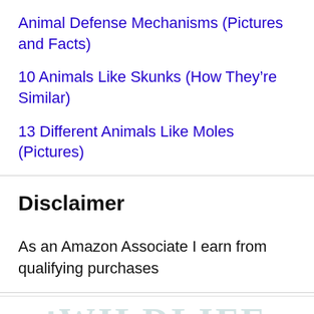Animal Defense Mechanisms (Pictures and Facts)
10 Animals Like Skunks (How They're Similar)
13 Different Animals Like Moles (Pictures)
Disclaimer
As an Amazon Associate I earn from qualifying purchases
[Figure (logo): Partial wildlife logo watermark text visible at bottom of page]